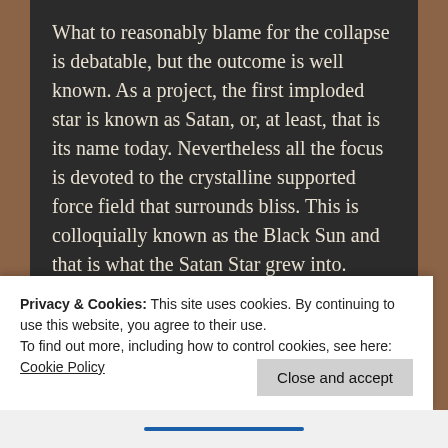What to reasonably blame for the collapse is debatable, but the outcome is well known. As a project, the first imploded star is known as Satan, or, at least, that is its name today. Nevertheless all the focus is devoted to the crystalline supported force field that surrounds bliss. This is colloquially known as the Black Sun and that is what the Satan Star grew into. Arguably this is the central point for everything as it is where everything started; our belly button of existence. Though NASA claims it has the mass of a million stars (as stars have no mass, how would they know?), it is the rule and
Privacy & Cookies: This site uses cookies. By continuing to use this website, you agree to their use.
To find out more, including how to control cookies, see here:
Cookie Policy
Close and accept